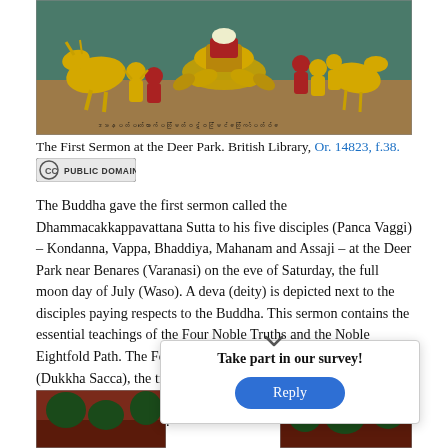[Figure (illustration): A traditional Burmese manuscript painting depicting the First Sermon at the Deer Park. Shows deer, the Buddha on a lotus throne, and five disciples and a deva paying respects. Teal/green background with gold and red figures. Black script at bottom.]
The First Sermon at the Deer Park. British Library, Or. 14823, f.38.
[Figure (logo): Public Domain Creative Commons badge icon]
The Buddha gave the first sermon called the Dhammacakkappavattana Sutta to his five disciples (Panca Vaggi) – Kondanna, Vappa, Bhaddiya, Mahanam and Assaji – at the Deer Park near Benares (Varanasi) on the eve of Saturday, the full moon day of July (Waso). A deva (deity) is depicted next to the disciples paying respects to the Buddha. This sermon contains the essential teachings of the Four Noble Truths and the Noble Eightfold Path. The Four Noble Truths are: the truth of suffering (Dukkha Sacca), the truth of the cause of suffering (Samudaya Sacca), the truth of the cessation of suffering (Nirodha Sacca) and the truth of the path (Magga Sacca).
[Figure (illustration): Bottom left partial image, dark red and green tones, appears to be continuation of manuscript painting]
[Figure (illustration): Bottom right partial image, dark red and green tones, appears to be continuation of manuscript painting]
Take part in our survey!
Reply